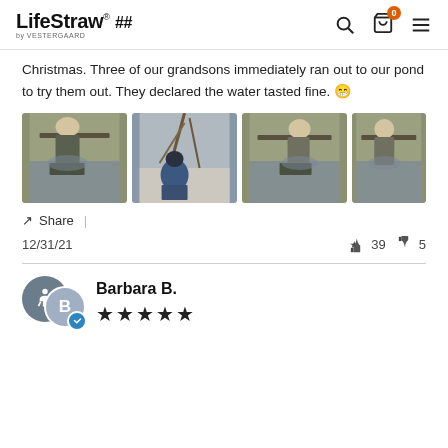LifeStraw® ## by VESTERGAARD
Christmas. Three of our grandsons immediately ran out to our pond to try them out. They declared the water tasted fine. 😁
[Figure (photo): Four photos showing children drinking from a LifeStraw at a pond in winter]
↗ Share  |
12/31/21   👍 39  👎 5
Barbara B.
★★★★★